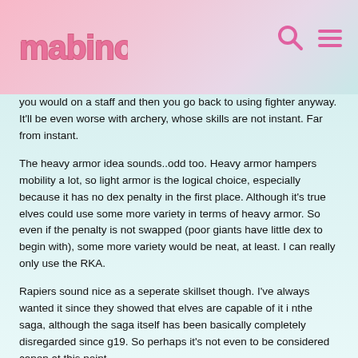Mabinogi
you would on a staff and then you go back to using fighter anyway. It'll be even worse with archery, whose skills are not instant. Far from instant.
The heavy armor idea sounds..odd too. Heavy armor hampers mobility a lot, so light armor is the logical choice, especially because it has no dex penalty in the first place. Although it's true elves could use some more variety in terms of heavy armor. So even if the penalty is not swapped (poor giants have little dex to begin with), some more variety would be neat, at least. I can really only use the RKA.
Rapiers sound nice as a seperate skillset though. I've always wanted it since they showed that elves are capable of it i nthe saga, although the saga itself has been basically completely disregarded since g19. So perhaps it's not even to be considered canon at this point.